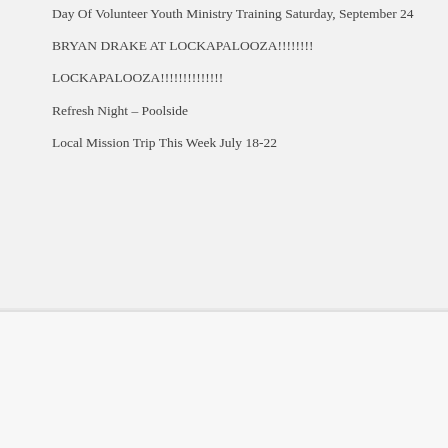Day Of Volunteer Youth Ministry Training Saturday, September 24
BRYAN DRAKE AT LOCKAPALOOZA!!!!!!!!
LOCKAPALOOZA!!!!!!!!!!!!!!
Refresh Night – Poolside
Local Mission Trip This Week July 18-22
BBestNB Tweets